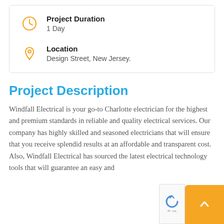Project Duration
1 Day
Location
Design Street, New Jersey.
Project Description
Windfall Electrical is your go-to Charlotte electrician for the highest and premium standards in reliable and quality electrical services. Our company has highly skilled and seasoned electricians that will ensure that you receive splendid results at an affordable and transparent cost. Also, Windfall Electrical has sourced the latest electrical technology tools that will guarantee an easy and